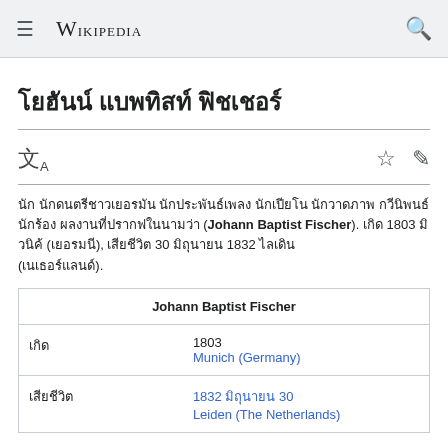Wikipedia
โยฮันน์ แบพทิสท์ ฟิชเชอร์
นัก นักดนตรีชาวเยอรมัน นักประพันธ์เพลง นักเปียโน นักวาดภาพ กวีนิพนธ์ นักร้อง ผลงานที่ปรากฏในนามว่า (Johann Baptist Fischer). เกิด 1803 มิวนิค (เยอรมนี), เสียชีวิต 30 มิถุนายน 1832 ไลเดิน (เนเธอร์แลนด์).
|  | Johann Baptist Fischer |
| --- | --- |
| เกิด | 1803
Munich (Germany) |
| เสียชีวิต | 1832 มิถุนายน 30
Leiden (The Netherlands) |